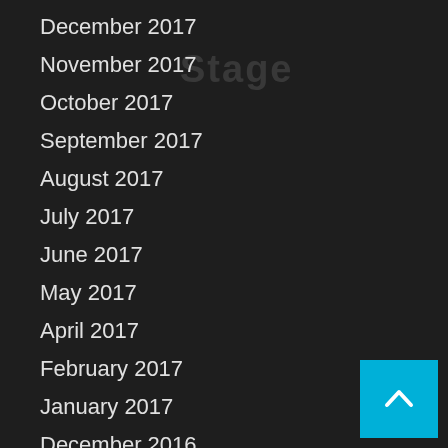Stage
December 2017
November 2017
October 2017
September 2017
August 2017
July 2017
June 2017
May 2017
April 2017
February 2017
January 2017
December 2016
November 2016
[Figure (other): Scroll-to-top button: cyan/blue square with white upward chevron arrow]